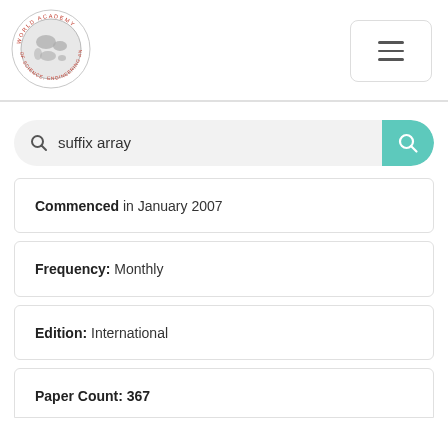[Figure (logo): World Academy of Science, Engineering and Technology circular logo with globe]
[Figure (other): Hamburger menu button with three horizontal lines]
[Figure (other): Search bar with text 'suffix array' and teal search button]
Commenced in January 2007
Frequency: Monthly
Edition: International
Paper Count: 367